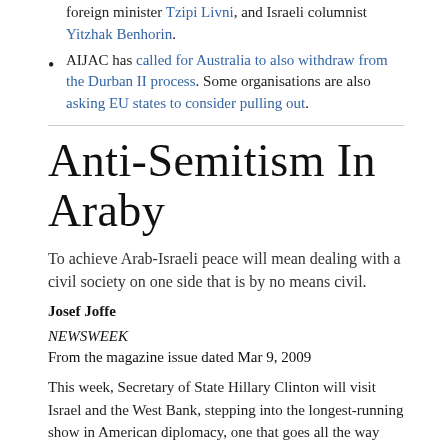foreign minister Tzipi Livni, and Israeli columnist Yitzhak Benhorin.
AIJAC has called for Australia to also withdraw from the Durban II process. Some organisations are also asking EU states to consider pulling out.
Anti-Semitism In Araby
To achieve Arab-Israeli peace will mean dealing with a civil society on one side that is by no means civil.
Josef Joffe
NEWSWEEK
From the magazine issue dated Mar 9, 2009
This week, Secretary of State Hillary Clinton will visit Israel and the West Bank, stepping into the longest-running show in American diplomacy, one that goes all the way back to the Rogers Plan of 1969. The play is called “Mediating in the Middle East,” and it might be another 40 years before the cast sings the